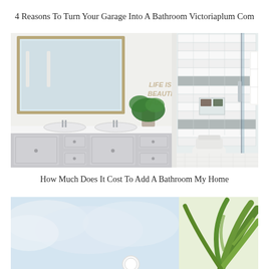4 Reasons To Turn Your Garage Into A Bathroom Victoriaplum Com
[Figure (photo): Modern bathroom with gray double vanity, wood-framed mirror, potted plant, glass-enclosed walk-in shower with white subway tiles and gray accent stripe, white toilet, and white fluffy towels. Text on wall reads LIFE IS BEAUTIFUL.]
How Much Does It Cost To Add A Bathroom My Home
[Figure (photo): Partial view of a bright bathroom or outdoor space with blurred blue sky/clouds on the left and green palm fronds on the right, with a round white fixture visible at the bottom center.]